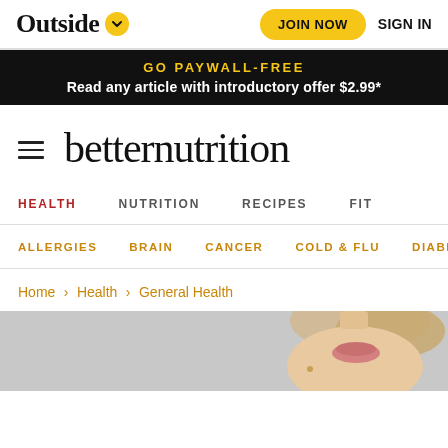Outside ∨   JOIN NOW   SIGN IN
GO PAYWALL-FREE
Read any article with introductory offer $2.99*
betternutrition
HEALTH   NUTRITION   RECIPES   FIT
ALLERGIES   BRAIN   CANCER   COLD & FLU   DIABETES
Home > Health > General Health
[Figure (photo): Cropped photo of a woman's face from nose down, with blonde hair pulled up, against a light gray background]